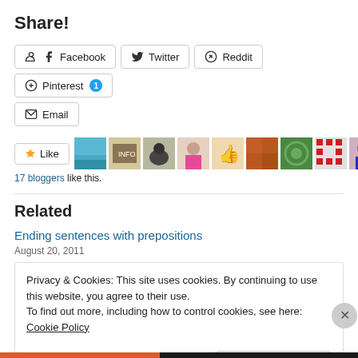Share!
[Figure (screenshot): Social share buttons: Facebook, Twitter, Reddit, Pinterest (with badge 1), Email]
[Figure (screenshot): Like button with star icon and row of blogger avatars (10 visible)]
17 bloggers like this.
Related
Ending sentences with prepositions
August 20, 2011
Privacy & Cookies: This site uses cookies. By continuing to use this website, you agree to their use. To find out more, including how to control cookies, see here: Cookie Policy
Close and accept